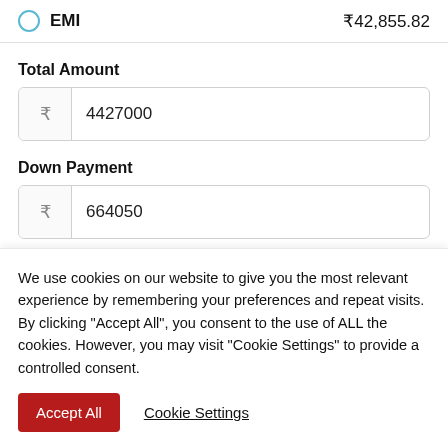EMI  ₹42,855.82
Total Amount
₹  4427000
Down Payment
₹  664050
Interest Rate
We use cookies on our website to give you the most relevant experience by remembering your preferences and repeat visits. By clicking "Accept All", you consent to the use of ALL the cookies. However, you may visit "Cookie Settings" to provide a controlled consent.
Accept All
Cookie Settings